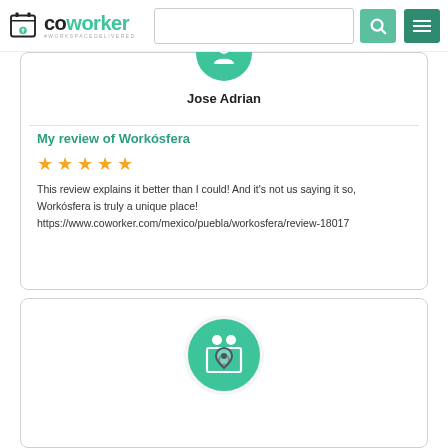coworker #WORKSPACEDELIVERED
[Figure (illustration): Green circle avatar with person silhouette icon]
Jose Adrian
My review of Workósfera
[Figure (illustration): Five orange star rating]
This review explains it better than I could! And it's not us saying it so, Workósfera is truly a unique place! https://www.coworker.com/mexico/puebla/workosfera/review-18017
[Figure (logo): Green circle icon with coworker location pin and people graphic]